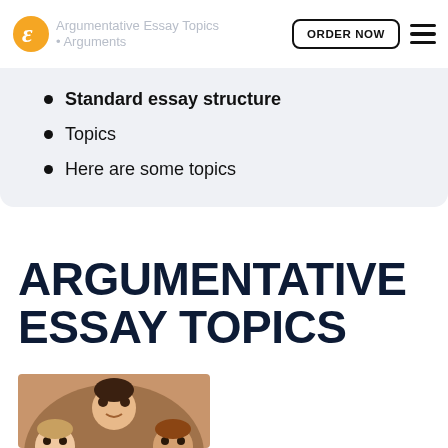Argumentative Essay Topics — Arguments
Standard essay structure
Topics
Here are some topics
ARGUMENTATIVE ESSAY TOPICS
[Figure (photo): Group of five smiling young people huddled together looking down at the camera, viewed from below.]